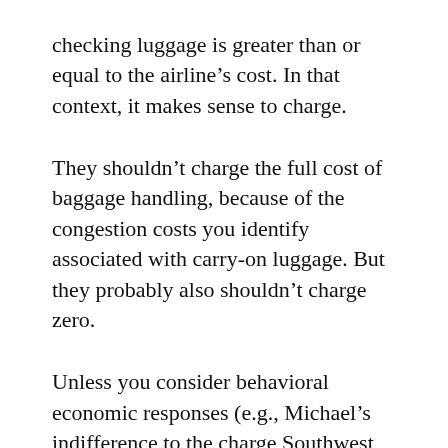checking luggage is greater than or equal to the airline’s cost. In that context, it makes sense to charge.
They shouldn’t charge the full cost of baggage handling, because of the congestion costs you identify associated with carry-on luggage. But they probably also shouldn’t charge zero.
Unless you consider behavioral economic responses (e.g., Michael’s indifference to the charge Southwest builds into ticket prices for baggage handling). I wonder if the airlines would have gotten a different response if they had offered a $35 discount for those who fly without luggage (and kept baggage handling